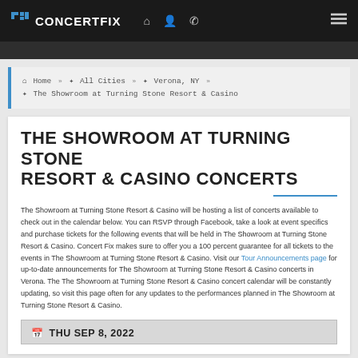CONCERTFIX
Home » All Cities » Verona, NY » The Showroom at Turning Stone Resort & Casino
THE SHOWROOM AT TURNING STONE RESORT & CASINO CONCERTS
The Showroom at Turning Stone Resort & Casino will be hosting a list of concerts available to check out in the calendar below. You can RSVP through Facebook, take a look at event specifics and purchase tickets for the following events that will be held in The Showroom at Turning Stone Resort & Casino. Concert Fix makes sure to offer you a 100 percent guarantee for all tickets to the events in The Showroom at Turning Stone Resort & Casino. Visit our Tour Announcements page for up-to-date announcements for The Showroom at Turning Stone Resort & Casino concerts in Verona. The The Showroom at Turning Stone Resort & Casino concert calendar will be constantly updating, so visit this page often for any updates to the performances planned in The Showroom at Turning Stone Resort & Casino.
THU SEP 8, 2022